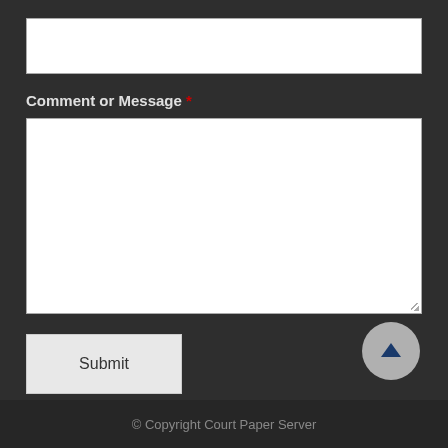[Figure (other): Text input field (empty)]
Comment or Message *
[Figure (other): Textarea input field (empty, resizable)]
Submit
[Figure (other): Scroll to top button with upward arrow icon]
© Copyright Court Paper Server